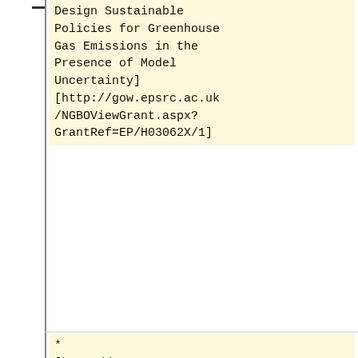Design Sustainable Policies for Greenhouse Gas Emissions in the Presence of Model Uncertainty] [http://gow.epsrc.ac.uk/NGBOViewGrant.aspx?GrantRef=EP/H03062X/1]
* [http://sysos.eng.ox.ac.uk/control/RoSBNet RoSBNet: Network in Synthetic Biology.]
* European Space Agency project with GMV (Spain), NGC (Canada) and the University of